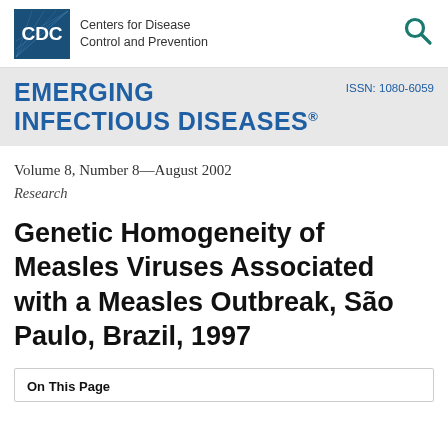[Figure (logo): CDC logo with blue box and 'CDC' text, plus 'Centers for Disease Control and Prevention' text, and a teal search icon on the right]
EMERGING INFECTIOUS DISEASES®  ISSN: 1080-6059
Volume 8, Number 8—August 2002
Research
Genetic Homogeneity of Measles Viruses Associated with a Measles Outbreak, São Paulo, Brazil, 1997
On This Page